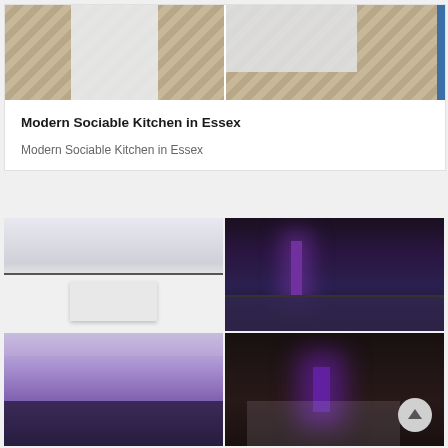[Figure (photo): Two kitchen photos side by side showing white gloss cabinets with herringbone wood floor]
Modern Sociable Kitchen in Essex
Modern Sociable Kitchen in Essex
[Figure (photo): Grid of four kitchen photos: modern white kitchen with island (top-left), purple-lit modern kitchen interior (top-right), dark purple ambience kitchen night shot (bottom-left), dark exterior night view with purple lighting (bottom-right)]